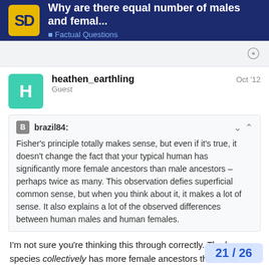Why are there equal number of males and femal... | Factual Questions
heathen_earthling
Guest
Oct '12
brazil84:
Fisher's principle totally makes sense, but even if it's true, it doesn't change the fact that your typical human has significantly more female ancestors than male ancestors – perhaps twice as many. This observation defies superficial common sense, but when you think about it, it makes a lot of sense. It also explains a lot of the observed differences between human males and human females.
I'm not sure you're thinking this through correctly. The human species collectively has more female ancestors than male ancestors, but that doesn't imply that every human does. If you and I each had 50% fe...
21 / 26